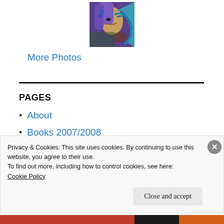[Figure (photo): Colorful graffiti/mural artwork showing a woman's face with purple hair and teal/blue swirling patterns]
More Photos
PAGES
About
Books 2007/2008
Privacy & Cookies: This site uses cookies. By continuing to use this website, you agree to their use.
To find out more, including how to control cookies, see here:
Cookie Policy
Close and accept